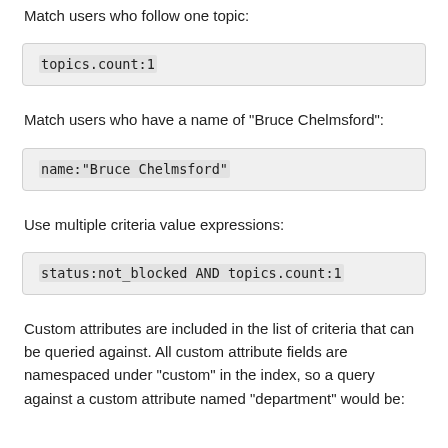Match users who follow one topic:
Match users who have a name of "Bruce Chelmsford":
Use multiple criteria value expressions:
Custom attributes are included in the list of criteria that can be queried against. All custom attribute fields are namespaced under "custom" in the index, so a query against a custom attribute named "department" would be: